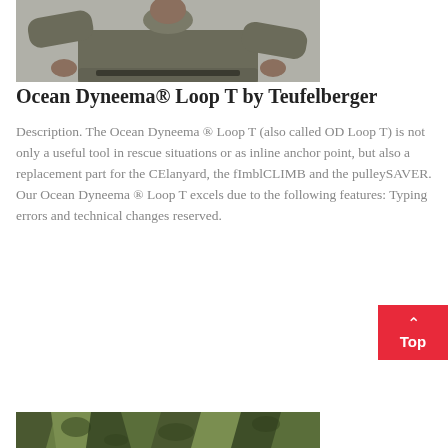[Figure (photo): Partial view of a person wearing an olive/grey military-style long sleeve shirt, cropped to show torso and hands, on a grey background]
Ocean Dyneema® Loop T by Teufelberger
Description. The Ocean Dyneema ® Loop T (also called OD Loop T) is not only a useful tool in rescue situations or as inline anchor point, but also a replacement part for the CElanyard, the fImblCLIMB and the pulleySAVER. Our Ocean Dyneema ® Loop T excels due to the following features: Typing errors and technical changes reserved.
[Figure (photo): Camouflage pattern fabric strip at the bottom of the page, partially visible]